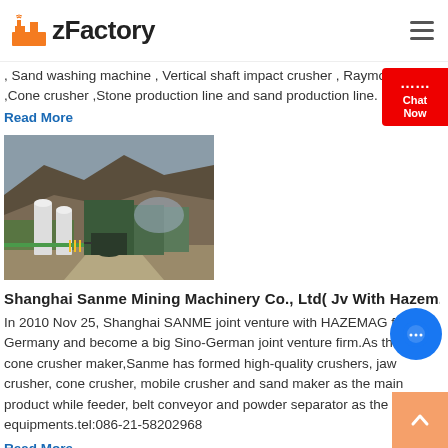zFactory
, Sand washing machine , Vertical shaft impact crusher , Raymond mill ,Cone crusher ,Stone production line and sand production line.
Read More
[Figure (photo): Mining facility with industrial buildings, silos, and excavated hillside terrain.]
Shanghai Sanme Mining Machinery Co., Ltd( Jv With Hazem...
In 2010 Nov 25, Shanghai SANME joint venture with HAZEMAG from Germany and become a big Sino-German joint venture firm.As the best cone crusher maker,Sanme has formed high-quality crushers, jaw crusher, cone crusher, mobile crusher and sand maker as the main product while feeder, belt conveyor and powder separator as the mating equipments.tel:086-21-58202968
Read More